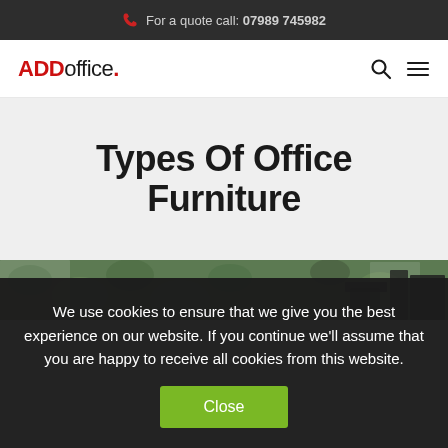For a quote call: 07989 745982
[Figure (logo): ADDoffice. logo with ADD in red and office. in dark/black]
Types Of Office Furniture
[Figure (photo): Partial photo of an office space with green plant wall background and dark desk/chair furniture]
We use cookies to ensure that we give you the best experience on our website. If you continue we'll assume that you are happy to receive all cookies from this website.